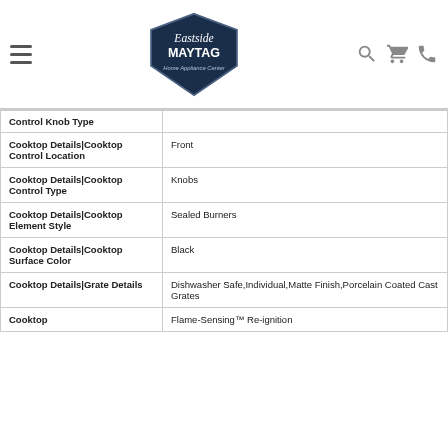Eastside Maytag Home Appliance Center
| Attribute | Value |
| --- | --- |
| Control Knob Type |  |
| Cooktop Details|Cooktop Control Location | Front |
| Cooktop Details|Cooktop Control Type | Knobs |
| Cooktop Details|Cooktop Element Style | Sealed Burners |
| Cooktop Details|Cooktop Surface Color | Black |
| Cooktop Details|Grate Details | Dishwasher Safe,Individual,Matte Finish,Porcelain Coated Cast Grates |
| Cooktop | Flame-Sensing™ Re-ignition |